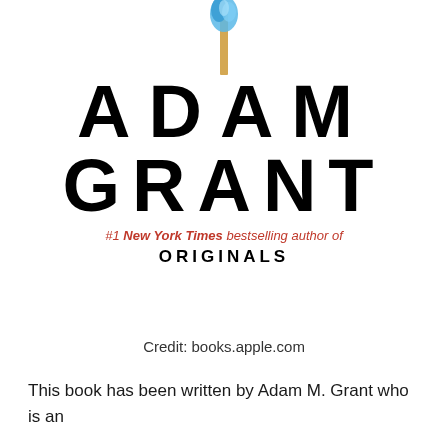[Figure (illustration): Book cover of Adam Grant's work showing a lit match with a blue flame against a white background, with the author name 'ADAM GRANT' in large bold black letters and '#1 New York Times bestselling author of ORIGINALS' text below]
Credit: books.apple.com
This book has been written by Adam M. Grant who is an